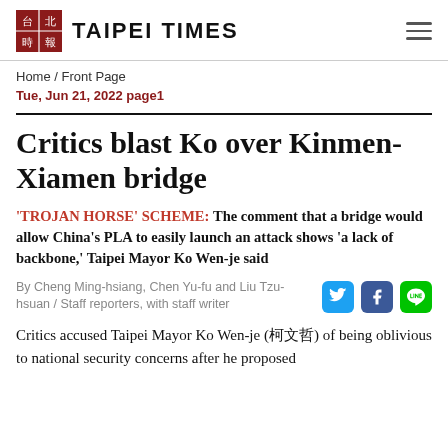TAIPEI TIMES
Home / Front Page
Tue, Jun 21, 2022 page1
Critics blast Ko over Kinmen-Xiamen bridge
'TROJAN HORSE' SCHEME: The comment that a bridge would allow China's PLA to easily launch an attack shows 'a lack of backbone,' Taipei Mayor Ko Wen-je said
By Cheng Ming-hsiang, Chen Yu-fu and Liu Tzu-hsuan / Staff reporters, with staff writer
Critics accused Taipei Mayor Ko Wen-je (柯文哲) of being oblivious to national security concerns after he proposed